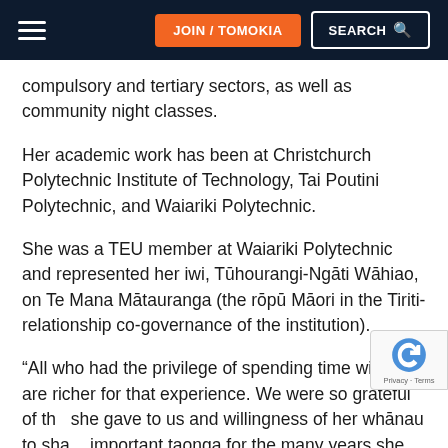JOIN / TOMOKIA | SEARCH
compulsory and tertiary sectors, as well as community night classes.
Her academic work has been at Christchurch Polytechnic Institute of Technology, Tai Poutini Polytechnic, and Waiariki Polytechnic.
She was a TEU member at Waiariki Polytechnic and represented her iwi, Tūhourangi-Ngāti Wāhiao, on Te Mana Mātauranga (the rōpū Māori in the Tiriti-relationship co-governance of the institution).
“All who had the privilege of spending time with Kā are richer for that experience. We were so grateful of the she gave to us and willingness of her whānau to sha important taonga for the many years she was our Kuia”,